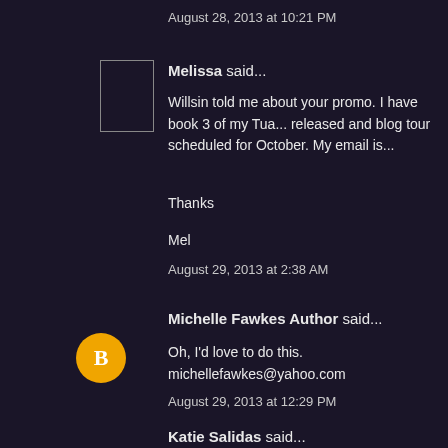August 28, 2013 at 10:21 PM
Melissa said...
Willsin told me about your promo. I have book 3 of my Tua... released and blog tour scheduled for October. My email is...
Thanks
Mel
August 29, 2013 at 2:38 AM
Michelle Fawkes Author said...
Oh, I'd love to do this. michellefawkes@yahoo.com
August 29, 2013 at 12:29 PM
Katie Salidas said...
Email's sent! I'm current with everyone in this comment li...